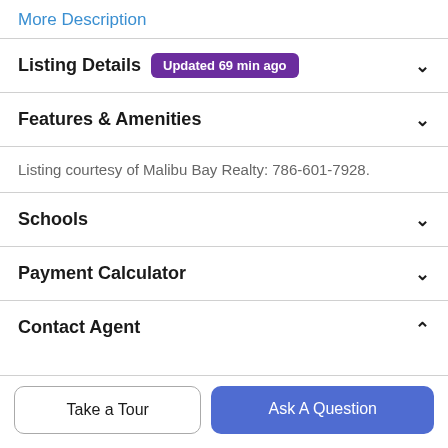More Description
Listing Details  Updated 69 min ago
Features & Amenities
Listing courtesy of Malibu Bay Realty: 786-601-7928.
Schools
Payment Calculator
Contact Agent
Take a Tour
Ask A Question